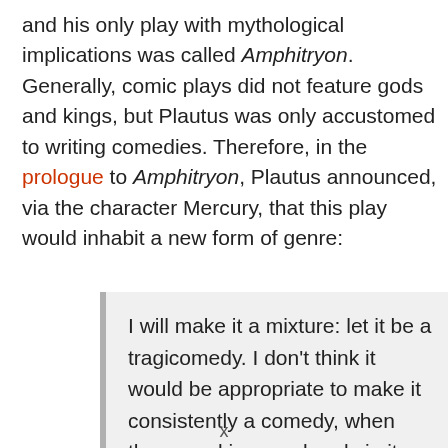and his only play with mythological implications was called Amphitryon. Generally, comic plays did not feature gods and kings, but Plautus was only accustomed to writing comedies. Therefore, in the prologue to Amphitryon, Plautus announced, via the character Mercury, that this play would inhabit a new form of genre:
I will make it a mixture: let it be a tragicomedy. I don't think it would be appropriate to make it consistently a comedy, when there are kings and gods in it. What do you think? Since a slave also has a part in the play, I'll make it a tragicomedy
x